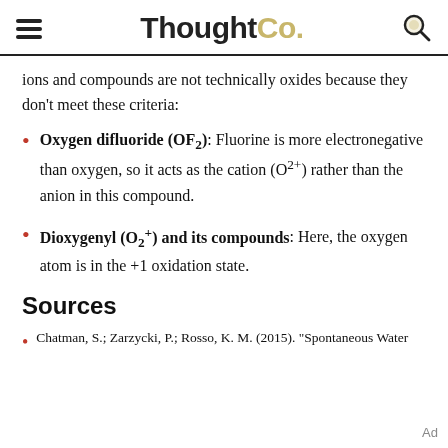ThoughtCo.
ions and compounds are not technically oxides because they don't meet these criteria:
Oxygen difluoride (OF2): Fluorine is more electronegative than oxygen, so it acts as the cation (O2+) rather than the anion in this compound.
Dioxygenyl (O2+) and its compounds: Here, the oxygen atom is in the +1 oxidation state.
Sources
Chatman, S.; Zarzycki, P.; Rosso, K. M. (2015). "Spontaneous Water Oxidation..."